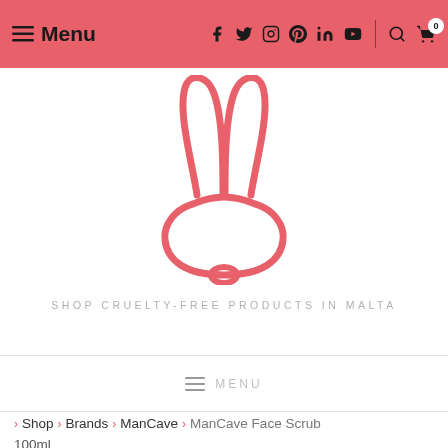Menu  [social icons: Facebook, Twitter, Instagram, Pinterest, LinkedIn, YouTube]  [Search] [Cart 0]
[Figure (logo): Cruelty-free rabbit logo — outline of a bunny face with ears in salmon/pink color]
SHOP CRUELTY-FREE PRODUCTS IN MALTA
≡ MENU
> Shop > Brands > ManCave > ManCave Face Scrub 100ml